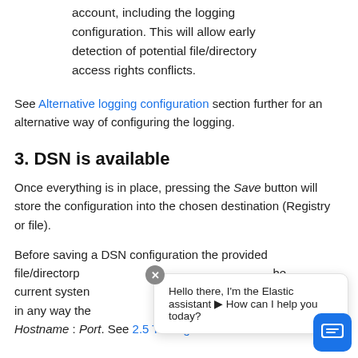account, including the logging configuration. This will allow early detection of potential file/directory access rights conflicts.
See Alternative logging configuration section further for an alternative way of configuring the logging.
3. DSN is available
Once everything is in place, pressing the Save button will store the configuration into the chosen destination (Registry or file).
Before saving a DSN configuration the provided file/directory p... the current system... not in any way the... Hostname : Port. See 2.5 Testing the connection for an